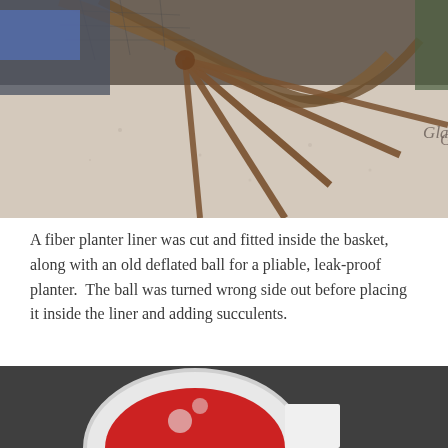[Figure (photo): Close-up photo of a wicker/wire basket frame with wooden spokes radiating outward, resting on a pale stone or concrete surface. A watermark reads 'Glassic Artistry' in cursive script.]
A fiber planter liner was cut and fitted inside the basket, along with an old deflated ball for a pliable, leak-proof planter.  The ball was turned wrong side out before placing it inside the liner and adding succulents.
[Figure (photo): Partial view of a red and white deflated ball on a dark surface, cut off at the bottom of the page.]